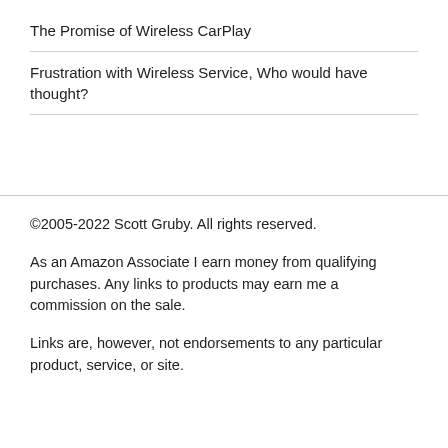The Promise of Wireless CarPlay
Frustration with Wireless Service, Who would have thought?
©2005-2022 Scott Gruby. All rights reserved.
As an Amazon Associate I earn money from qualifying purchases. Any links to products may earn me a commission on the sale.
Links are, however, not endorsements to any particular product, service, or site.